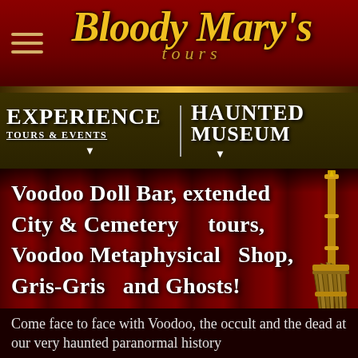Bloody Mary's tours
EXPERIENCE TOURS & EVENTS | HAUNTED MUSEUM
Voodoo Doll Bar, extended City & Cemetery tours, Voodoo Metaphysical Shop, Gris-Gris and Ghosts!
[Figure (illustration): Decorative broom illustration on right side]
Come face to face with Voodoo, the occult and the dead at our very haunted paranormal history